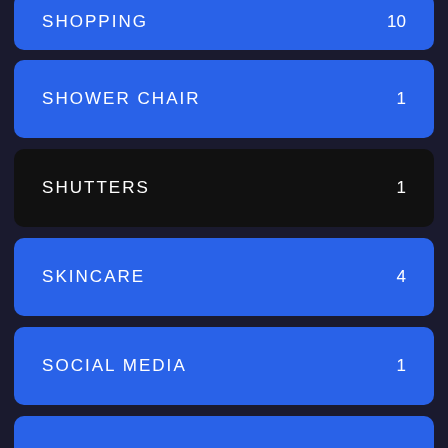SHOPPING  10
SHOWER CHAIR  1
SHUTTERS  1
SKINCARE  4
SOCIAL MEDIA  1
SOFTWARE  3
SOLAR PANELS  9
SOLAR POOL HEATING  2
SPORTS  ?